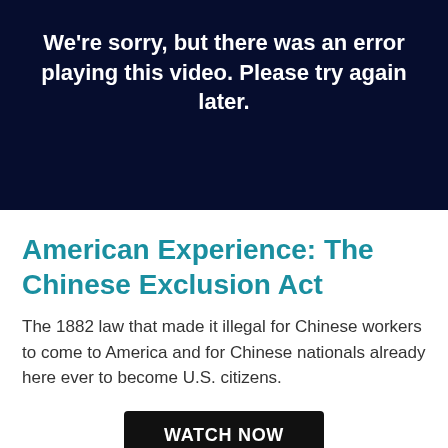[Figure (screenshot): Dark navy blue video player error screen with white bold text reading: We're sorry, but there was an error playing this video. Please try again later.]
American Experience: The Chinese Exclusion Act
The 1882 law that made it illegal for Chinese workers to come to America and for Chinese nationals already here ever to become U.S. citizens.
WATCH NOW